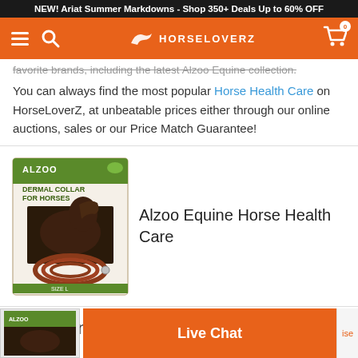NEW! Ariat Summer Markdowns - Shop 350+ Deals Up to 60% OFF
[Figure (screenshot): HorseLoverZ orange navigation bar with hamburger menu, search icon, HorseLoverZ logo with horse silhouette, and shopping cart icon with badge showing 0]
favorite brands, including the latest Alzoo Equine collection. You can always find the most popular Horse Health Care on HorseLoverZ, at unbeatable prices either through our online auctions, sales or our Price Match Guarantee!
[Figure (photo): Alzoo Dermal Collar for Horses product image showing a brown leather-style coiled collar on packaging with a horse image]
Alzoo Equine Horse Health Care
Recent Alzoo Equine Reviews
[Figure (photo): Partial view of another Alzoo product thumbnail at the bottom of the page]
Live Chat